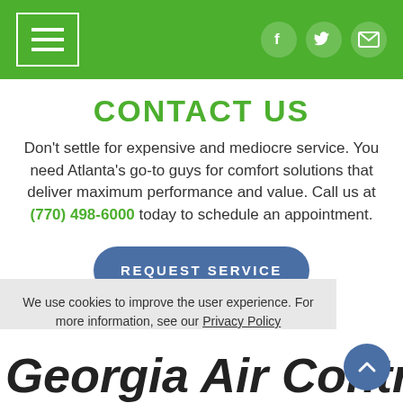Navigation header with menu icon and social icons (Facebook, Twitter, Email)
CONTACT US
Don't settle for expensive and mediocre service. You need Atlanta's go-to guys for comfort solutions that deliver maximum performance and value. Call us at (770) 498-6000 today to schedule an appointment.
REQUEST SERVICE
We use cookies to improve the user experience. For more information, see our Privacy Policy
OK
Georgia Air Contractors